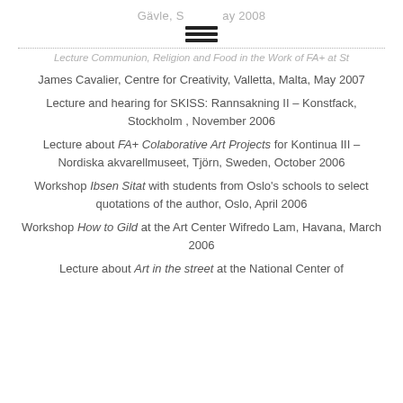Gävle, S ay 2008
Lecture Communion, Religion and Food in the Work of FA+ at St James Cavalier, Centre for Creativity, Valletta, Malta, May 2007
Lecture and hearing for SKISS: Rannsakning II – Konstfack, Stockholm , November 2006
Lecture about FA+ Colaborative Art Projects for Kontinua III – Nordiska akvarellmuseet, Tjörn, Sweden, October 2006
Workshop Ibsen Sitat with students from Oslo's schools to select quotations of the author, Oslo, April 2006
Workshop How to Gild at the Art Center Wifredo Lam, Havana, March 2006
Lecture about Art in the street at the National Center of